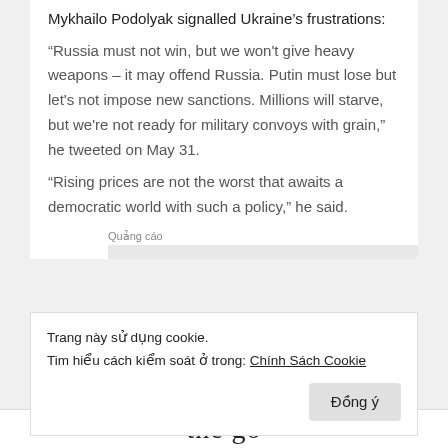Mykhailo Podolyak signalled Ukraine’s frustrations:
“Russia must not win, but we won’t give heavy weapons – it may offend Russia. Putin must lose but let’s not impose new sanctions. Millions will starve, but we’re not ready for military convoys with grain,” he tweeted on May 31.
“Rising prices are not the worst that awaits a democratic world with such a policy,” he said.
Quảng cáo
Trang này sử dụng cookie.
Tim hiểu cách kiểm soát ở trong: Chính Sách Cookie
Đồng ý
the go